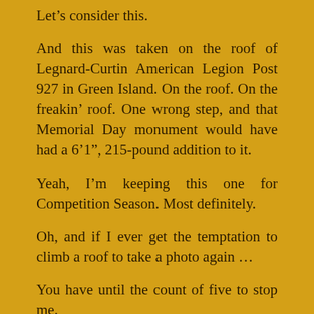Let’s consider this.
And this was taken on the roof of Legnard-Curtin American Legion Post 927 in Green Island. On the roof. On the freakin’ roof. One wrong step, and that Memorial Day monument would have had a 6’1″, 215-pound addition to it.
Yeah, I’m keeping this one for Competition Season. Most definitely.
Oh, and if I ever get the temptation to climb a roof to take a photo again …
You have until the count of five to stop me.